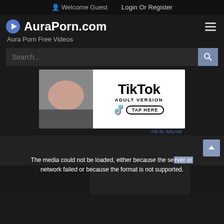Welcome Guest   Login Or Register
AuraPorn.com
Aura Porn Free Videos
Search...
[Figure (screenshot): TikTok Adult Version advertisement banner with TAP HERE button]
Ads by JuicyAds
The media could not be loaded, either because the server or network failed or because the format is not supported.